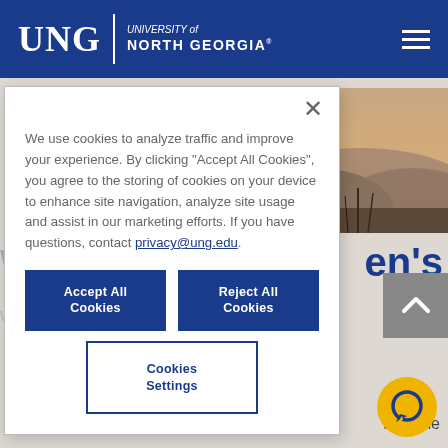[Figure (logo): UNG University of North Georgia logo with white text on dark blue header bar, and hamburger menu icon on the right]
[Figure (photo): Landscape photo of misty mountains/hills with warm orange/yellow tones, visible in top-right corner behind modal]
We use cookies to analyze traffic and improve your experience. By clicking “Accept All Cookies”, you agree to the storing of cookies on your device to enhance site navigation, analyze site usage and assist in our marketing efforts. If you have questions, contact privacy@ung.edu.
Accept All Cookies
Reject All Cookies
Cookies Settings
Women’s and Men’s
ing and ealth
take the